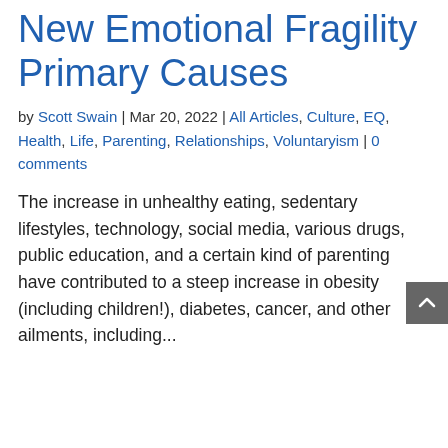New Emotional Fragility Primary Causes
by Scott Swain | Mar 20, 2022 | All Articles, Culture, EQ, Health, Life, Parenting, Relationships, Voluntaryism | 0 comments
The increase in unhealthy eating, sedentary lifestyles, technology, social media, various drugs, public education, and a certain kind of parenting have contributed to a steep increase in obesity (including children!), diabetes, cancer, and other ailments, including...